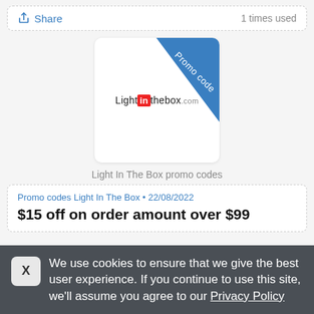Share  1 times used
[Figure (logo): LightInTheBox.com promo code card with blue diagonal banner in top-right corner reading 'Promo code']
Light In The Box promo codes
Promo codes Light In The Box • 22/08/2022
$15 off on order amount over $99
We use cookies to ensure that we give the best user experience. If you continue to use this site, we'll assume you agree to our Privacy Policy